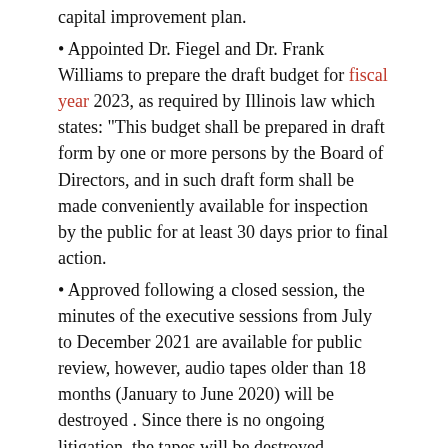capital improvement plan.
• Appointed Dr. Fiegel and Dr. Frank Williams to prepare the draft budget for fiscal year 2023, as required by Illinois law which states: “This budget shall be prepared in draft form by one or more persons by the Board of Directors, and in such draft form shall be made conveniently available for inspection by the public for at least 30 days prior to final action.
• Approved following a closed session, the minutes of the executive sessions from July to December 2021 are available for public review, however, audio tapes older than 18 months (January to June 2020) will be destroyed . Since there is no ongoing litigation, the tapes will be destroyed.
• Accepted the donation of a 2001 Dodge Ram 2500 valued at $5,000 and a John Deere combine valued at $12,500 for the FFA program at Mascoutah High School.
The plan is to use both as disassembly and reassembly projects in the workshop and not to use them as a truck and combine.
Approved the following certified personnel actions:
• Hired Rachael Schneider as an ELA teacher at MHS, and Laurie